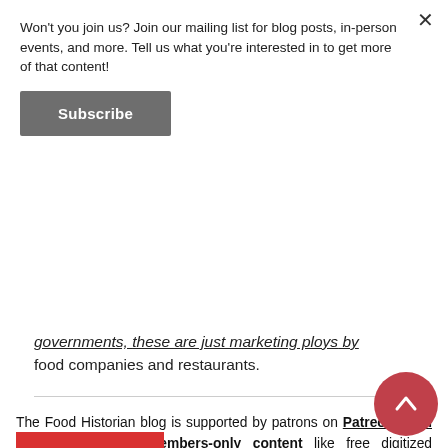Won't you join us? Join our mailing list for blog posts, in-person events, and more. Tell us what you're interested in to get more of that content!
Subscribe
governments, these are just marketing ploys by food companies and restaurants.
The Food Historian blog is supported by patrons on Patreon! Join us for awesome members-only content like free digitized cookbooks from my personal collection, e-newsletter, and even snail mail from time to time!